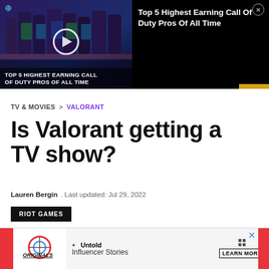[Figure (screenshot): Video ad thumbnail showing esports players with 'TOP 5 HIGHEST EARNING CALL OF DUTY PROS OF ALL TIME' text overlay, play button, and ad title on dark background]
TV & MOVIES > VALORANT
Is Valorant getting a TV show?
Lauren Bergin . Last updated: Jul 29, 2022
RIOT GAMES
[Figure (screenshot): Bottom advertisement banner for 'Originals' featuring 'Untold Influencer Stories' with Learn More button and X close button]